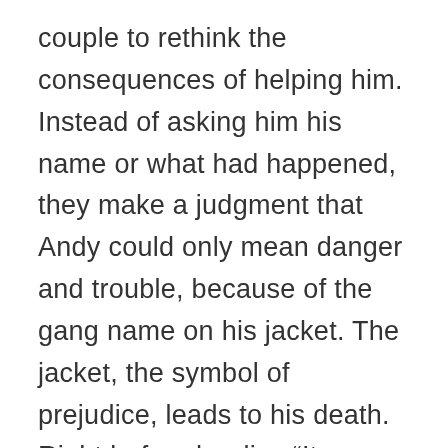couple to rethink the consequences of helping him. Instead of asking him his name or what had happened, they make a judgment that Andy could only mean danger and trouble, because of the gang name on his jacket. The jacket, the symbol of prejudice, leads to his death. Right before he dies “It seemed very important to him that he take off the purple jacket.” At this point he realizes that he is dying and needs to be known for who he really is, instead of for the name on his jacket